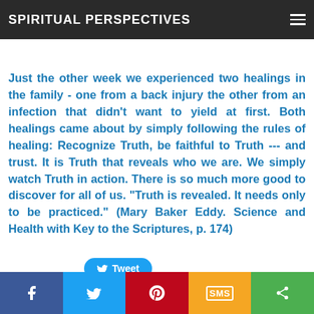SPIRITUAL PERSPECTIVES
humble action
Just the other week we experienced two healings in the family - one from a back injury the other from an infection that didn't want to yield at first. Both healings came about by simply following the rules of healing: Recognize Truth, be faithful to Truth --- and trust. It is Truth that reveals who we are. We simply watch Truth in action. There is so much more good to discover for all of us. "Truth is revealed. It needs only to be practiced." (Mary Baker Eddy. Science and Health with Key to the Scriptures, p. 174)
[Figure (other): Tweet button with Twitter bird icon]
<<Previous
[Figure (other): Social share bar with Facebook, Twitter, Pinterest, SMS, and share icons]